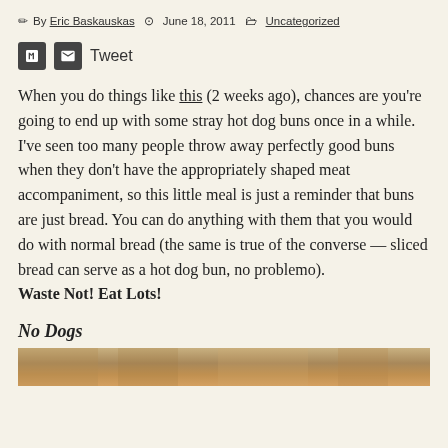By Eric Baskauskas   June 18, 2011   Uncategorized
Tweet
When you do things like this (2 weeks ago), chances are you’re going to end up with some stray hot dog buns once in a while. I’ve seen too many people throw away perfectly good buns when they don’t have the appropriately shaped meat accompaniment, so this little meal is just a reminder that buns are just bread. You can do anything with them that you would do with normal bread (the same is true of the converse — sliced bread can serve as a hot dog bun, no problemo). Waste Not! Eat Lots!
No Dogs
[Figure (photo): Bottom strip showing a food photograph, partially visible]